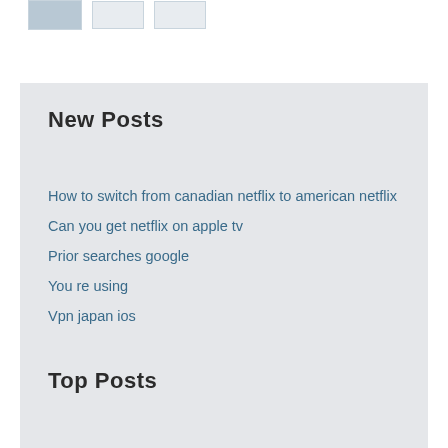[Figure (other): Three thumbnail image placeholders at top of page]
New Posts
How to switch from canadian netflix to american netflix
Can you get netflix on apple tv
Prior searches google
You re using
Vpn japan ios
Top Posts